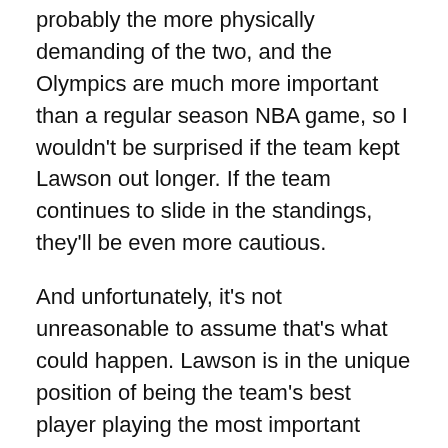probably the more physically demanding of the two, and the Olympics are much more important than a regular season NBA game, so I wouldn't be surprised if the team kept Lawson out longer. If the team continues to slide in the standings, they'll be even more cautious.
And unfortunately, it's not unreasonable to assume that's what could happen. Lawson is in the unique position of being the team's best player playing the most important position. While the Nuggets could reasonably withstand the losses of Danilo Gallinari and Javale McGee, there is no replacing Ty. Foye now has the the unenviable task of trying to kick-start the Nuggets' offense while playing out of position.
This contest against the Indiana Pacers does not bode well for the Nuggets. The Pacers will certainly be